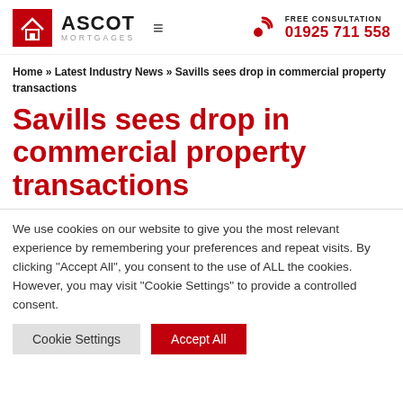[Figure (logo): Ascot Mortgages logo with red house icon, black ASCOT text and grey MORTGAGES text, hamburger menu icon]
FREE CONSULTATION
01925 711 558
Home » Latest Industry News » Savills sees drop in commercial property transactions
Savills sees drop in commercial property transactions
We use cookies on our website to give you the most relevant experience by remembering your preferences and repeat visits. By clicking "Accept All", you consent to the use of ALL the cookies. However, you may visit "Cookie Settings" to provide a controlled consent.
Cookie Settings   Accept All